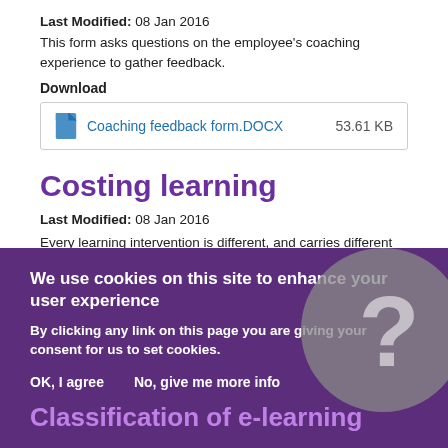Last Modified: 08 Jan 2016
This form asks questions on the employee's coaching experience to gather feedback.
Download
Coaching feedback form.DOCX   53.61 KB
Costing learning
Last Modified: 08 Jan 2016
Every learning intervention is different, and carries different costs, so it is difficult to offer a blueprint for costing learning. However, this docu... standard scheme for assessing ... intervention before it is underta...
Download
...ng learning.DOCX   FREE ARTICLES
TEMPLATE
We use cookies on this site to enhance your user experience
By clicking any link on this page you are giving your consent for us to set cookies.
OK, I agree   No, give me more info
Classification of e-learning